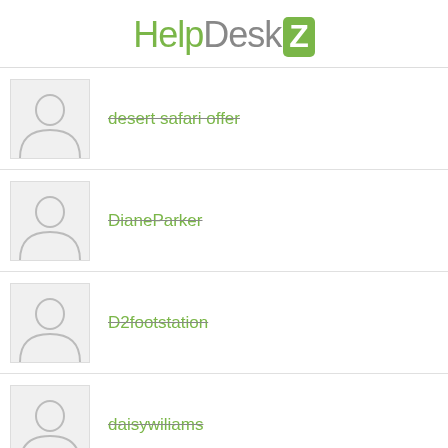[Figure (logo): HelpDeskZ logo with green text and Z in green rounded square]
desert safari offer (strikethrough)
DianeParker (strikethrough)
D2footstation (strikethrough)
daisywiliams (strikethrough)